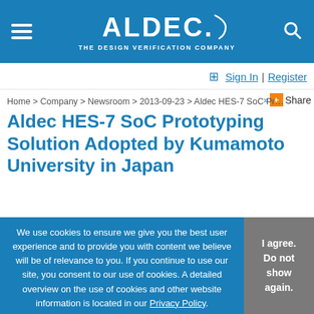ALDEC. THE DESIGN VERIFICATION COMPANY
Sign In | Register
Home > Company > Newsroom > 2013-09-23 > Aldec HES-7 SoC Pr...
Aldec HES-7 SoC Prototyping Solution Adopted by Kumamoto University in Japan
Date: Sep 23, 2013   Type: Release
Tokyo, Japan – September 23, 2013 – Aldec, Inc., a pioneer in mixed HDL language simulation and hardware-assisted verification solutions for system and ASIC designs, today announced that the Kumamoto University
We use cookies to ensure we give you the best user experience and to provide you with content we believe will be of relevance to you. If you continue to use our site, you consent to our use of cookies. A detailed overview on the use of cookies and other website information is located in our Privacy Policy.